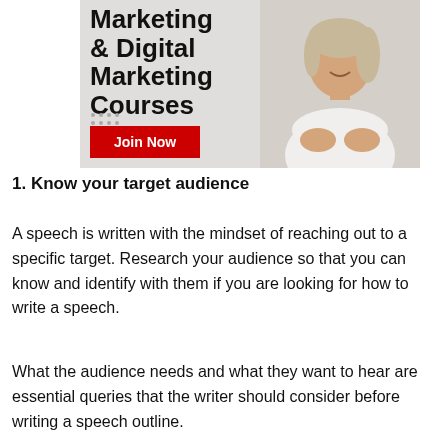[Figure (illustration): Advertisement banner for Marketing & Digital Marketing Courses with a smiling woman in white shirt with arms crossed, a red 'Join Now' button, and dotted pattern on light grey background.]
1. Know your target audience
A speech is written with the mindset of reaching out to a specific target. Research your audience so that you can know and identify with them if you are looking for how to write a speech.
What the audience needs and what they want to hear are essential queries that the writer should consider before writing a speech outline.